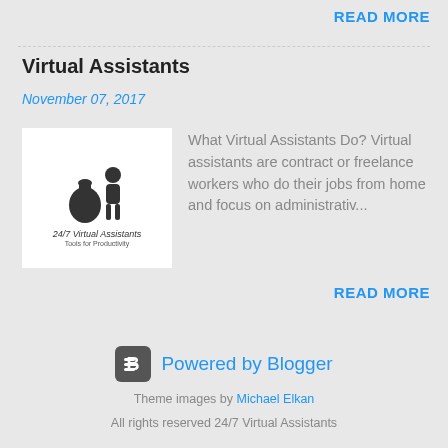READ MORE
Virtual Assistants
November 07, 2017
[Figure (logo): 24/7 Virtual Assistants logo with silhouette of person and money bag, italic text '24/7 Virtual Assistants' and tagline below]
What Virtual Assistants Do? Virtual assistants are contract or freelance workers who do their jobs from home and focus on administrativ...
READ MORE
[Figure (logo): Powered by Blogger logo with Blogger 'B' icon and text 'Powered by Blogger']
Theme images by Michael Elkan
All rights reserved 24/7 Virtual Assistants